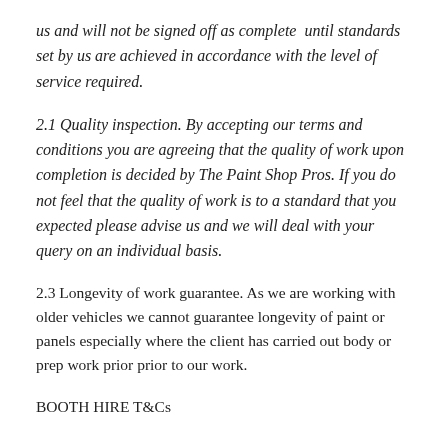us and will not be signed off as complete until standards set by us are achieved in accordance with the level of service required.
2.1 Quality inspection. By accepting our terms and conditions you are agreeing that the quality of work upon completion is decided by The Paint Shop Pros. If you do not feel that the quality of work is to a standard that you expected please advise us and we will deal with your query on an individual basis.
2.3 Longevity of work guarantee. As we are working with older vehicles we cannot guarantee longevity of paint or panels especially where the client has carried out body or prep work prior prior to our work.
BOOTH HIRE T&Cs